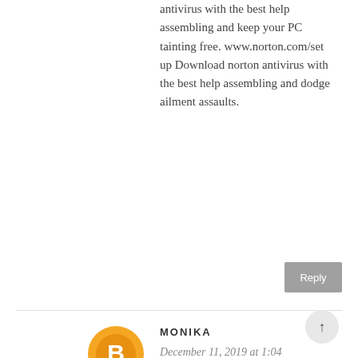antivirus with the best help assembling and keep your PC tainting free. www.norton.com/setup Download norton antivirus with the best help assembling and dodge ailment assaults.
Reply
MONIKA
December 11, 2019 at 1:04 AM